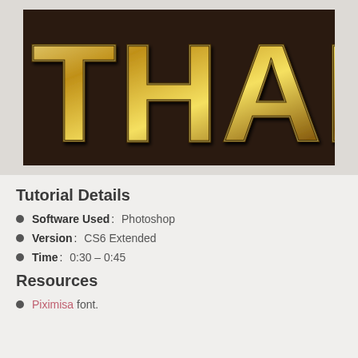[Figure (photo): Gold metallic embossed 3D text reading 'THAN' on a dark brown textured background, with shiny golden beveled letters.]
Tutorial Details
Software Used: Photoshop
Version: CS6 Extended
Time: 0:30 – 0:45
Resources
Piximisa font.